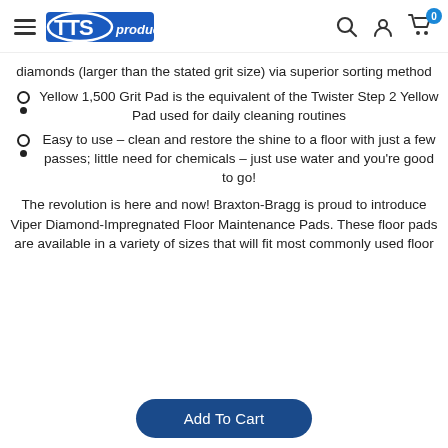TTS products [navigation header with search, account, and cart icons]
diamonds (larger than the stated grit size) via superior sorting method
Yellow 1,500 Grit Pad is the equivalent of the Twister Step 2 Yellow Pad used for daily cleaning routines
Easy to use – clean and restore the shine to a floor with just a few passes; little need for chemicals – just use water and you're good to go!
The revolution is here and now! Braxton-Bragg is proud to introduce Viper Diamond-Impregnated Floor Maintenance Pads. These floor pads are available in a variety of sizes that will fit most commonly used floor
Add To Cart